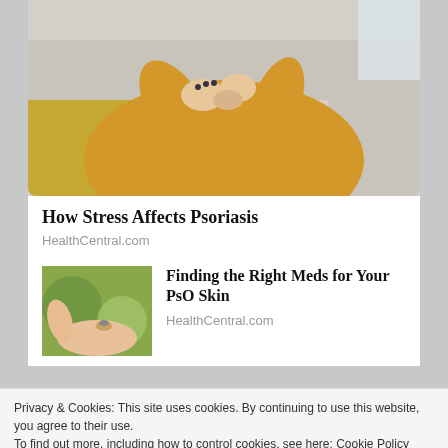[Figure (photo): A woman in a yellow knit sweater sitting on a couch, scratching or examining her elbow/arm. Cushions visible in background.]
How Stress Affects Psoriasis
HealthCentral.com
[Figure (photo): Close-up of a hand holding a small cannabis or medication item over an open palm, green background.]
Finding the Right Meds for Your PsO Skin
HealthCentral.com
Privacy & Cookies: This site uses cookies. By continuing to use this website, you agree to their use.
To find out more, including how to control cookies, see here: Cookie Policy
Close and accept
WormedSpeed